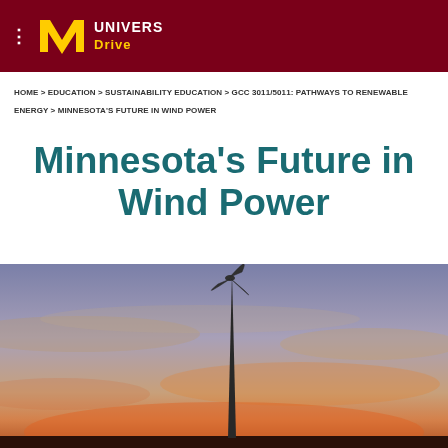UNIVERS Drive
HOME > EDUCATION > SUSTAINABILITY EDUCATION > GCC 3011/5011: PATHWAYS TO RENEWABLE ENERGY > MINNESOTA'S FUTURE IN WIND POWER
Minnesota's Future in Wind Power
[Figure (photo): A wind turbine silhouetted against a dramatic sunset sky with orange and purple hues]